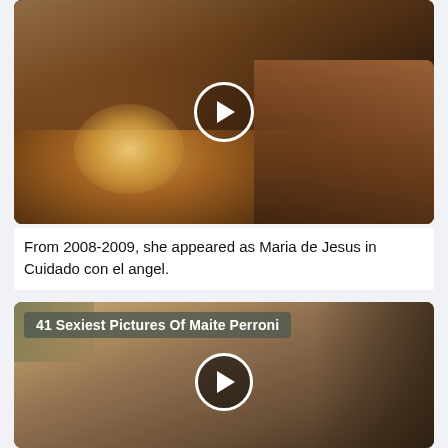[Figure (photo): Video thumbnail showing two figures in a dimly lit, warm-toned intimate scene with a play button overlay.]
From 2008-2009, she appeared as Maria de Jesus in Cuidado con el angel.
[Figure (photo): Video thumbnail with title badge '41 Sexiest Pictures Of Maite Perroni', showing a close-up warm-toned photo with a play button overlay.]